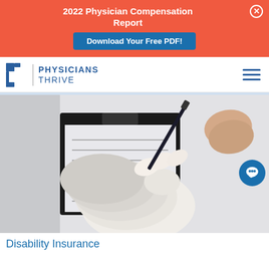2022 Physician Compensation Report
Download Your Free PDF!
[Figure (logo): Physicians Thrive logo with stylized P icon and text]
[Figure (photo): Person with bandaged hand filling out a form on a clipboard with a pen]
Disability Insurance